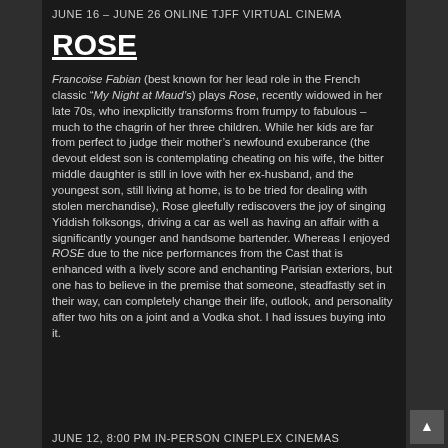JUNE 16 – JUNE 26 ONLINE TJFF VIRTUAL CINEMA
ROSE
Francoise Fabian (best known for her lead role in the French classic “My Night at Maud’s) plays Rose, recently widowed in her late 70s, who inexplicitly transforms from frumpy to fabulous – much to the chagrin of her three children. While her kids are far from perfect to judge their mother’s newfound exuberance (the devout eldest son is contemplating cheating on his wife, the bitter middle daughter is still in love with her ex-husband, and the youngest son, still living at home, is to be tried for dealing with stolen merchandise), Rose gleefully rediscovers the joy of singing Yiddish folksongs, driving a car as well as having an affair with a significantly younger and handsome bartender. Whereas I enjoyed ROSE due to the nice performances from the Cast that is enhanced with a lively score and enchanting Parisian exteriors, but one has to believe in the premise that someone, steadfastly set in their way, can completely change their life, outlook, and personality after two hits on a joint and a Vodka shot. I had issues buying into it.
JUNE 12, 8:00 PM IN-PERSON CINEPLEX CINEMAS